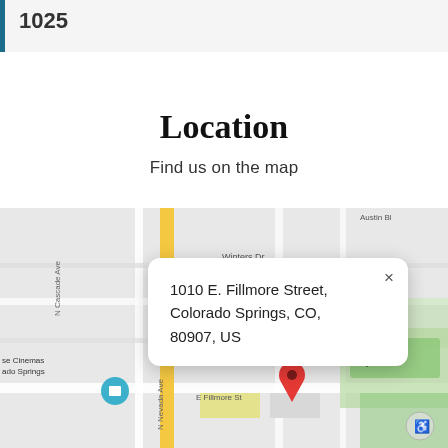1025
Location
Find us on the map
[Figure (map): Google Maps screenshot showing 1010 E. Fillmore Street, Colorado Springs, CO, 80907, US with a red location pin and a popup info box displaying the address. Streets visible include N Cascade Ave, Winters Dr, Acacia Dr, N Nevada Ave, E Fillmore St, El Paso St. Nearby places include Springs Country Club.]